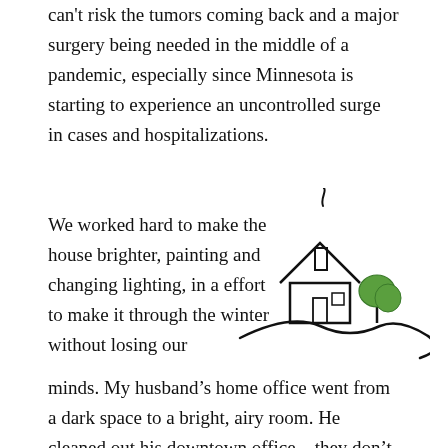can't risk the tumors coming back and a major surgery being needed in the middle of a pandemic, especially since Minnesota is starting to experience an uncontrolled surge in cases and hospitalizations.
We worked hard to make the house brighter, painting and changing lighting, in a effort to make it through the winter without losing our minds. My husband's home office went from a dark space to a bright, airy room. He cleaned out his downtown office – they don't want workers back in until the middle of next year. So far, we're doing okay. But we owe a lot of it to delivery and grocery store
[Figure (illustration): A simple line-art illustration of a house on a hill with a tree and a curly smoke trail from the chimney. The tree is colored green.]